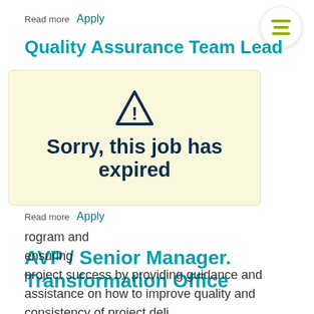Read more  Apply
Quality Assurance Team Lead
[Figure (screenshot): Expired job notice popup with warning triangle icon and text: Sorry, this job has expired]
...rogram and ...ensuring project success by providing guidance and assistance on how to improve quality and consistency of project deli...
Read more  Apply
AVP / Senior Manager. Transformation Office